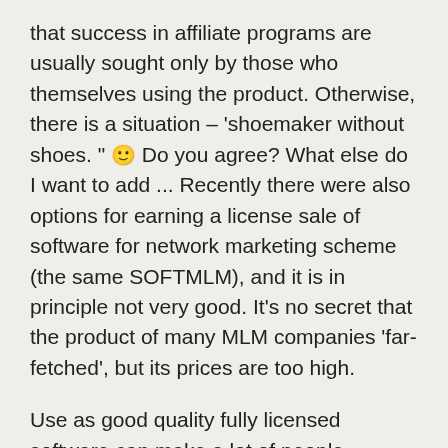that success in affiliate programs are usually sought only by those who themselves using the product. Otherwise, there is a situation – 'shoemaker without shoes. " 🙂 Do you agree? What else do I want to add ... Recently there were also options for earning a license sale of software for network marketing scheme (the same SOFTMLM), and it is in principle not very good. It's no secret that the product of many MLM companies 'far-fetched', but its prices are too high.
Use as good quality fully licensed software can make a lot of people reconsider their views on MLM. For some scheme to work – here everyone decides for himself. In the first case you will only result from their actions. Whereas the second – the result of work of a whole team. There has never running the basic